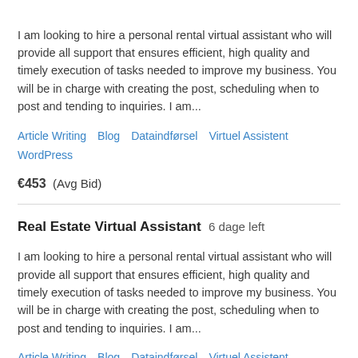I am looking to hire a personal rental virtual assistant who will provide all support that ensures efficient, high quality and timely execution of tasks needed to improve my business. You will be in charge with creating the post, scheduling when to post and tending to inquiries. I am...
Article Writing   Blog   Dataindførsel   Virtuel Assistent   WordPress
€453   (Avg Bid)
Real Estate Virtual Assistant   6 dage left
I am looking to hire a personal rental virtual assistant who will provide all support that ensures efficient, high quality and timely execution of tasks needed to improve my business. You will be in charge with creating the post, scheduling when to post and tending to inquiries. I am...
Article Writing   Blog   Dataindførsel   Virtuel Assistent   WordPress